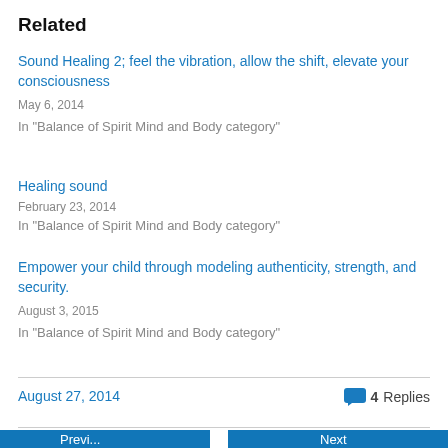Related
Sound Healing 2; feel the vibration, allow the shift, elevate your consciousness
May 6, 2014
In "Balance of Spirit Mind and Body category"
Healing sound
February 23, 2014
In "Balance of Spirit Mind and Body category"
Empower your child through modeling authenticity, strength, and security.
August 3, 2015
In "Balance of Spirit Mind and Body category"
August 27, 2014
4 Replies